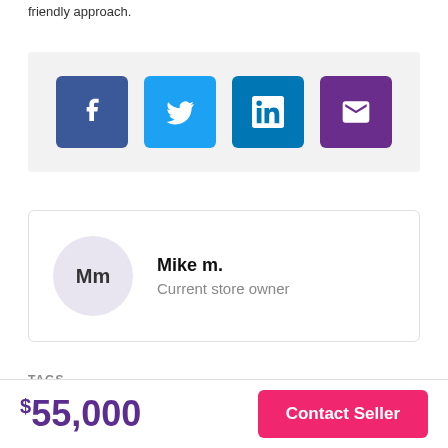friendly approach.
[Figure (infographic): Social sharing icons row: Facebook (blue), Twitter (light blue), LinkedIn (dark blue), Email/envelope (purple), on a light gray background]
[Figure (infographic): Author card showing avatar with initials 'Mm', name 'Mike m.', role 'Current store owner']
TAGS
$55,000
Contact Seller